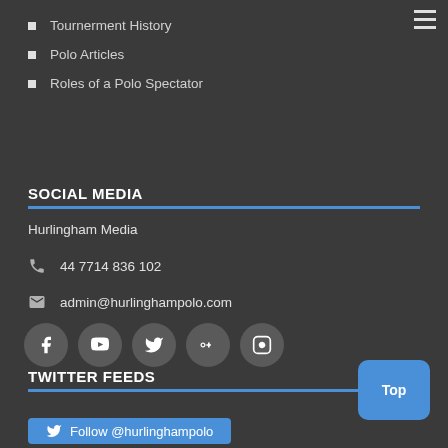Tournerment History
Polo Articles
Roles of a Polo Spectator
SOCIAL MEDIA
Hurlingham Media
44 7714 836 102
admin@hurlinghampolo.com
[Figure (other): Social media icons: Facebook, YouTube, Twitter, Google+, Instagram]
TWITTER FEEDS
Follow @hurlinghampolo